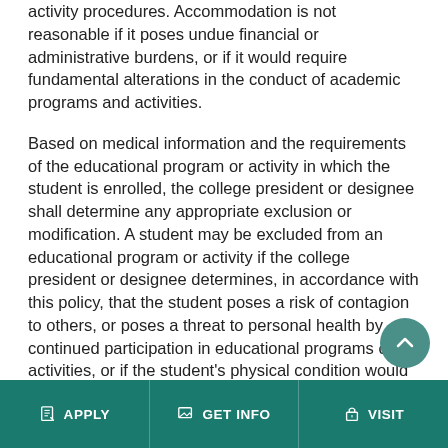activity procedures. Accommodation is not reasonable if it poses undue financial or administrative burdens, or if it would require fundamental alterations in the conduct of academic programs and activities.
Based on medical information and the requirements of the educational program or activity in which the student is enrolled, the college president or designee shall determine any appropriate exclusion or modification. A student may be excluded from an educational program or activity if the college president or designee determines, in accordance with this policy, that the student poses a risk of contagion to others, or poses a threat to personal health by continued participation in educational programs or activities, or if the student's physical condition would interfere with participation in educational programs or activities.
APPLY | GET INFO | VISIT